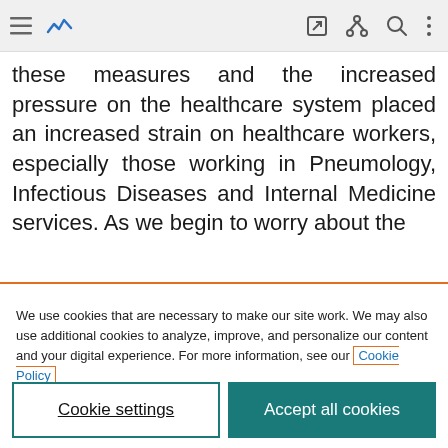[toolbar with menu, chart icon, edit, share, search, more icons]
these measures and the increased pressure on the healthcare system placed an increased strain on healthcare workers, especially those working in Pneumology, Infectious Diseases and Internal Medicine services. As we begin to worry about the
We use cookies that are necessary to make our site work. We may also use additional cookies to analyze, improve, and personalize our content and your digital experience. For more information, see our Cookie Policy
Cookie settings
Accept all cookies